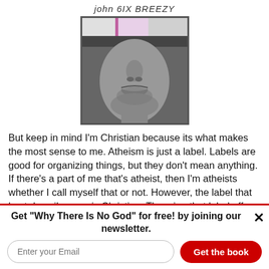john 6IX BREEZY
[Figure (photo): Close-up black and white photo of a person's face (nose and mouth area) with a colorful hat/cap showing pink and white colors at the top. The image is cropped showing mainly the lower face.]
But keep in mind I'm Christian because its what makes the most sense to me. Atheism is just a label. Labels are good for organizing things, but they don't mean anything. If there's a part of me that's atheist, then I'm atheists whether I call myself that or not. However, the label that best describes me is Christian. Throwing that label off and calling myself atheist wouldn't change that fact.
Get "Why There Is No God" for free! by joining our newsletter.